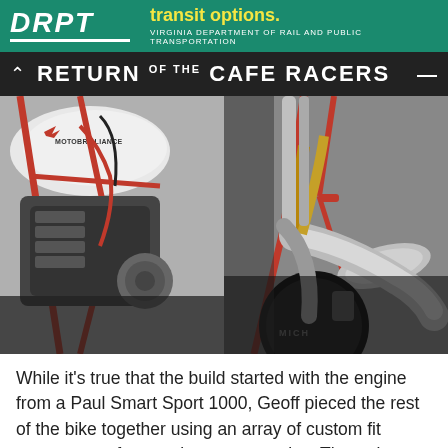DRPT - transit options. VIRGINIA DEPARTMENT OF RAIL AND PUBLIC TRANSPORTATION
RETURN OF THE CAFE RACERS
[Figure (photo): Two close-up photos of a custom cafe racer motorcycle. Left photo shows the engine area with red frame and Motobrilliance tank. Right photo shows the exhaust, red frame, and rear wheel/brake assembly detail.]
While it's true that the build started with the engine from a Paul Smart Sport 1000, Geoff pieced the rest of the bike together using an array of custom fit components from various motorcycles. The swingarm and rear shocks for instance are from a Ducati Super